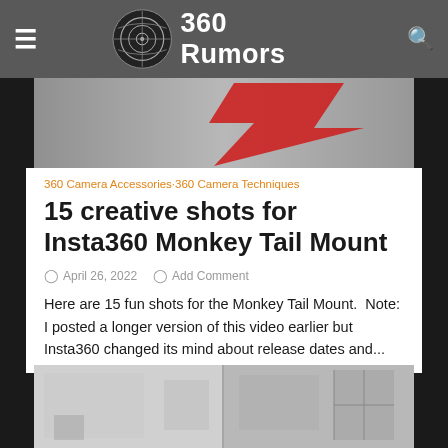360 Rumors
[Figure (photo): Top partial image showing a red arrow or logo on a grey surface]
360 Camera Accessories·360 Camera Techniques
15 creative shots for Insta360 Monkey Tail Mount
April 26, 2022   Add Comment
Here are 15 fun shots for the Monkey Tail Mount.  Note: I posted a longer version of this video earlier but Insta360 changed its mind about release dates and...
[Figure (photo): Bottom partial image showing two interior room photos side by side]